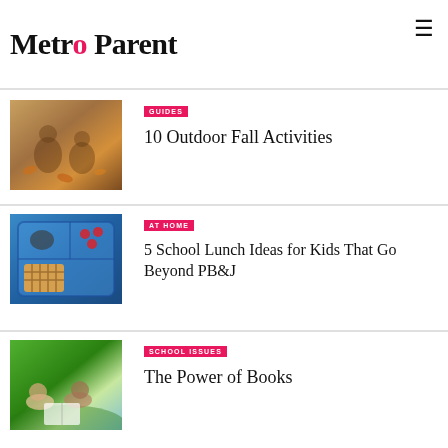Metro Parent
[Figure (photo): Children playing in autumn leaves outdoors]
GUIDES
10 Outdoor Fall Activities
[Figure (photo): Blue lunchbox with waffles and other school lunch items]
AT HOME
5 School Lunch Ideas for Kids That Go Beyond PB&J
[Figure (photo): Children lying on grass reading books together]
SCHOOL ISSUES
The Power of Books